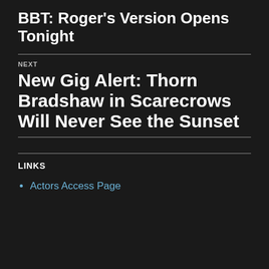BBT: Roger's Version Opens Tonight
NEXT
New Gig Alert: Thorn Bradshaw in Scarecrows Will Never See the Sunset
LINKS
Actors Access Page